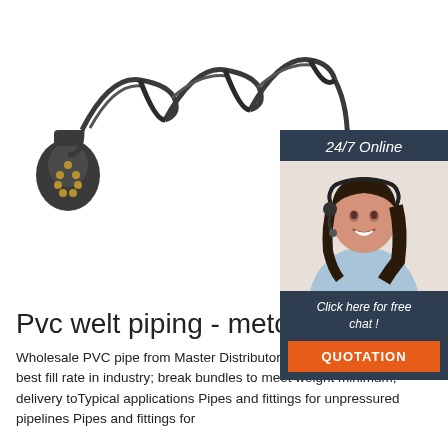[Figure (photo): A coiled black electrical cable with two 7-pin trailer connectors (plugs) at each end, one on the left and one on the right, with a spiral coiled cable connecting them. White background.]
[Figure (photo): A woman with dark hair wearing a headset/microphone, smiling, dressed in a light blue shirt. She appears to be a customer service representative.]
24/7 Online
Click here for free chat !
QUOTATION
Pvc welt piping - metodis.pl
Wholesale PVC pipe from Master Distributor United Pipe & Steel: best fill rate in industry; break bundles to meet weight minimum; delivery toTypical applications Pipes and fittings for unpressured pipelines Pipes and fittings for